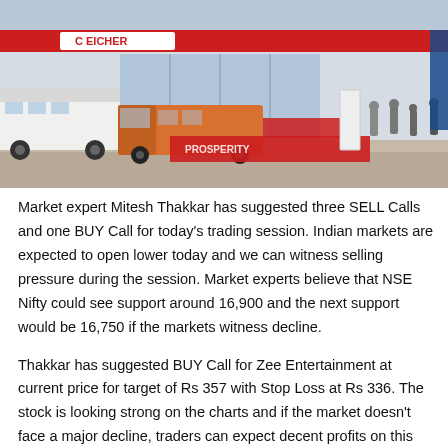[Figure (photo): Eicher Motors dealership/showroom exterior with trucks and buses parked outside, people walking around, red and white branding visible]
Market expert Mitesh Thakkar has suggested three SELL Calls and one BUY Call for today's trading session. Indian markets are expected to open lower today and we can witness selling pressure during the session. Market experts believe that NSE Nifty could see support around 16,900 and the next support would be 16,750 if the markets witness decline.
Thakkar has suggested BUY Call for Zee Entertainment at current price for target of Rs 357 with Stop Loss at Rs 336. The stock is looking strong on the charts and if the market doesn't face a major decline, traders can expect decent profits on this call.